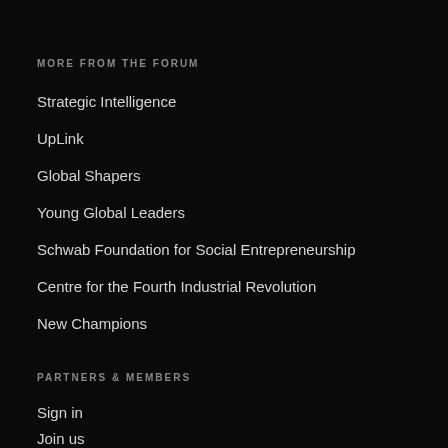MORE FROM THE FORUM
Strategic Intelligence
UpLink
Global Shapers
Young Global Leaders
Schwab Foundation for Social Entrepreneurship
Centre for the Fourth Industrial Revolution
New Champions
PARTNERS & MEMBERS
Sign in
Join us